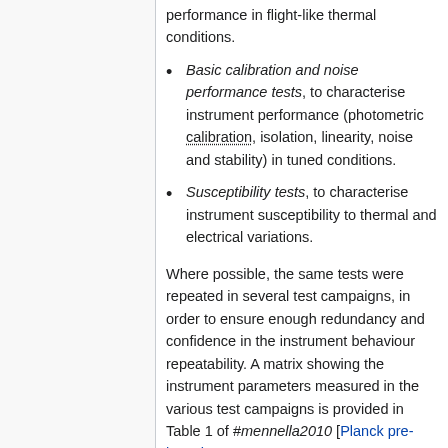performance in flight-like thermal conditions.
Basic calibration and noise performance tests, to characterise instrument performance (photometric calibration, isolation, linearity, noise and stability) in tuned conditions.
Susceptibility tests, to characterise instrument susceptibility to thermal and electrical variations.
Where possible, the same tests were repeated in several test campaigns, in order to ensure enough redundancy and confidence in the instrument behaviour repeatability. A matrix showing the instrument parameters measured in the various test campaigns is provided in Table 1 of #mennella2010 [Planck pre-launch status: Low Frequency Instrument calibration and expected